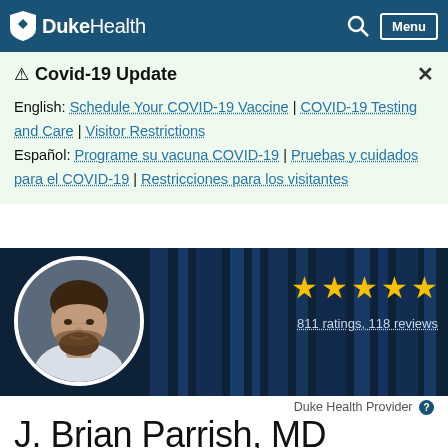DukeHealth — Navigation bar with search and menu
⚠ Covid-19 Update
English: Schedule Your COVID-19 Vaccine | COVID-19 Testing and Care | Visitor Restrictions
Español: Programe su vacuna COVID-19 | Pruebas y cuidados para el COVID-19 | Restricciones para los visitantes
[Figure (photo): Doctor profile photo of J. Brian Parrish, MD in circular frame with white border, against dark blue striped background. Five gold stars and '811 ratings, 118 reviews' shown to the right.]
Duke Health Provider
J. Brian Parrish, MD
Family Medicine Doctor, Primary Care Doctor